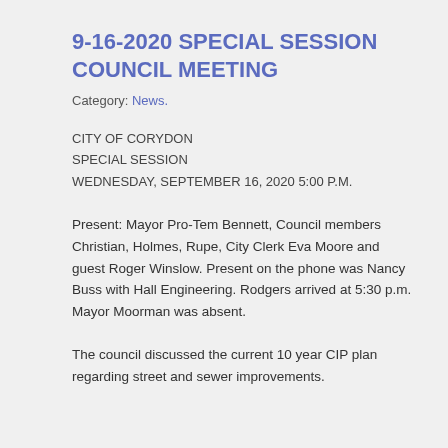9-16-2020 SPECIAL SESSION COUNCIL MEETING
Category: News.
CITY OF CORYDON
SPECIAL SESSION
WEDNESDAY, SEPTEMBER 16, 2020 5:00 P.M.
Present: Mayor Pro-Tem Bennett, Council members Christian, Holmes, Rupe, City Clerk Eva Moore and guest Roger Winslow. Present on the phone was Nancy Buss with Hall Engineering. Rodgers arrived at 5:30 p.m. Mayor Moorman was absent.
The council discussed the current 10 year CIP plan regarding street and sewer improvements.